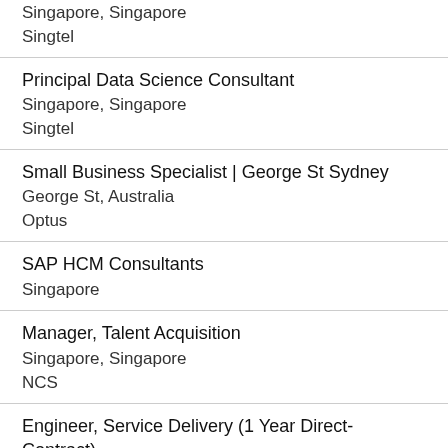Singapore, Singapore
Singtel
Principal Data Science Consultant
Singapore, Singapore
Singtel
Small Business Specialist | George St Sydney
George St, Australia
Optus
SAP HCM Consultants
Singapore
Manager, Talent Acquisition
Singapore, Singapore
NCS
Engineer, Service Delivery (1 Year Direct-Contract)